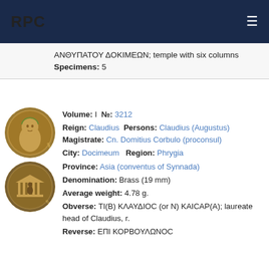RPC
ΑΝΘΥΠΑΤΟΥ ΔΟΚΙΜΕΩΝ; temple with six columns
Specimens: 5
Volume: I №: 3212
Reign: Claudius Persons: Claudius (Augustus) Magistrate: Cn. Domitius Corbulo (proconsul)
City: Docimeum Region: Phrygia
Province: Asia (conventus of Synnada)
Denomination: Brass (19 mm)
Average weight: 4.78 g.
Obverse: ΤΙ(Β) ΚΛΑΥΔΙΟC (or N) ΚΑΙCΑΡ(Α); laureate head of Claudius, r.
Reverse: ΕΠΙ ΚΟΡΒΟΥΛΩΝΟC
[Figure (photo): Two ancient Roman coins (obverse and reverse) showing portrait of Claudius and temple reverse]